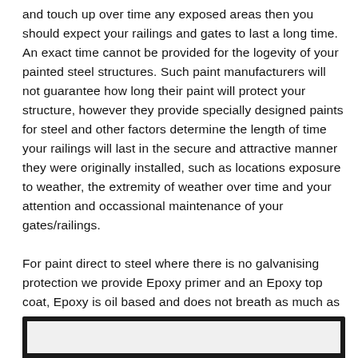and touch up over time any exposed areas then you should expect your railings and gates to last a long time. An exact time cannot be provided for the logevity of your painted steel structures. Such paint manufacturers will not guarantee how long their paint will protect your structure, however they provide specially designed paints for steel and other factors determine the length of time your railings will last in the secure and attractive manner they were originally installed, such as locations exposure to weather, the extremity of weather over time and your attention and occassional maintenance of your gates/railings.
For paint direct to steel where there is no galvanising protection we provide Epoxy primer and an Epoxy top coat, Epoxy is oil based and does not breath as much as normal Accrylic paints and so Epoxy means less Oxygen to the steel and therefore less corrossion. Our speicialist painter tells us that an Epoxy + Epoxy paint direct to steel should be good for 6 to 8 years.
[Figure (photo): Dark rectangular box at the bottom of the page, partially visible, appears to be an image container with a dark border and light interior]